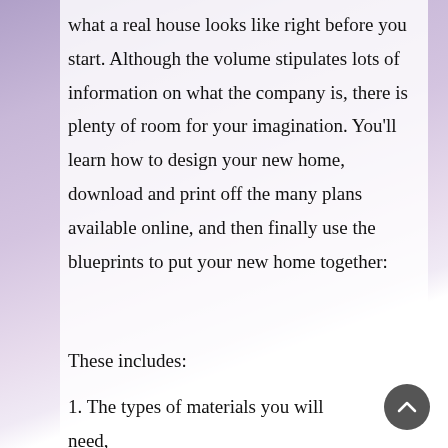what a real house looks like right before you start. Although the volume stipulates lots of information on what the company is, there is plenty of room for your imagination. You'll learn how to design your new home, download and print off the many plans available online, and then finally use the blueprints to put your new home together:
These includes:
1. The types of materials you will need,